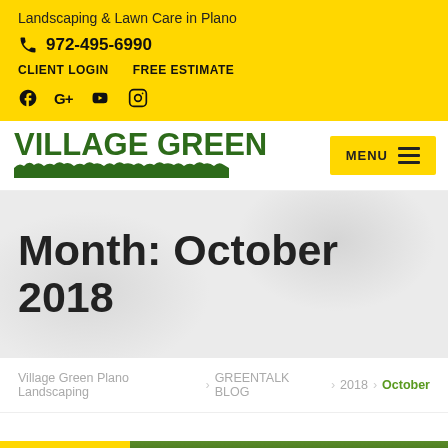Landscaping & Lawn Care in Plano
972-495-6990
CLIENT LOGIN   FREE ESTIMATE
Social icons: Facebook, Google+, YouTube, Instagram
[Figure (logo): Village Green logo with green text and grass illustration]
MENU
Month: October 2018
Village Green Plano Landscaping > GREENTALK BLOG > 2018 > October